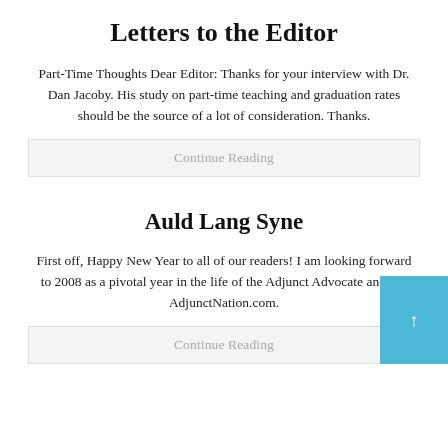Letters to the Editor
Part-Time Thoughts Dear Editor: Thanks for your interview with Dr. Dan Jacoby. His study on part-time teaching and graduation rates should be the source of a lot of consideration. Thanks.
Continue Reading
Auld Lang Syne
First off, Happy New Year to all of our readers! I am looking forward to 2008 as a pivotal year in the life of the Adjunct Advocate and our AdjunctNation.com.
Continue Reading